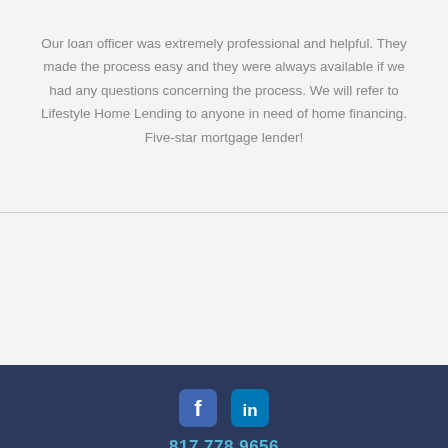Our loan officer was extremely professional and helpful. They made the process easy and they were always available if we had any questions concerning the process. We will refer to Lifestyle Home Lending to anyone in need of home financing. Five-star mortgage lender!
817.778.9656 | clientcare@lifestylehomelending.com | 300 Morrison Park Drive, Suite 100, Southlake, TX 76092